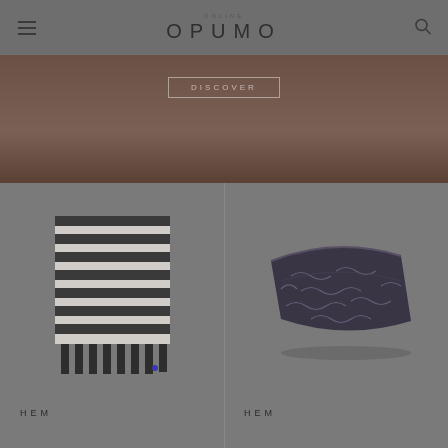OPUMO
[Figure (photo): Hero banner image showing dark brown background with a DISCOVER button overlay]
[Figure (photo): Striped beach/pool towel in dark charcoal and light grey horizontal stripes with fringe at the bottom]
HEM
[Figure (photo): Folded dark charcoal/navy blanket or throw with a repeating abstract pattern]
HEM